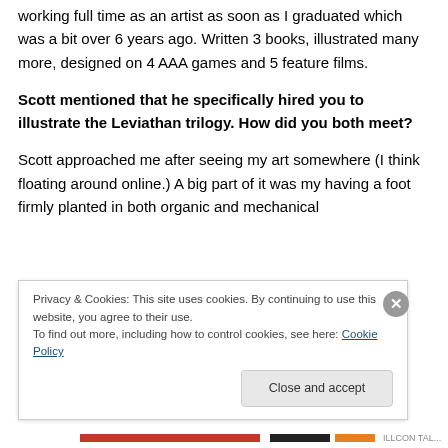working full time as an artist as soon as I graduated which was a bit over 6 years ago. Written 3 books, illustrated many more, designed on 4 AAA games and 5 feature films.
Scott mentioned that he specifically hired you to illustrate the Leviathan trilogy. How did you both meet?
Scott approached me after seeing my art somewhere (I think floating around online.) A big part of it was my having a foot firmly planted in both organic and mechanical
Privacy & Cookies: This site uses cookies. By continuing to use this website, you agree to their use.
To find out more, including how to control cookies, see here: Cookie Policy